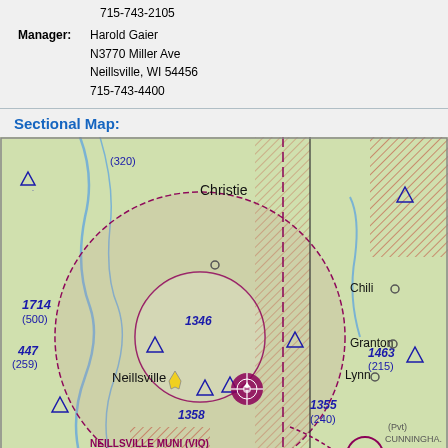715-743-2105
Manager: Harold Gaier
N3770 Miller Ave
Neillsville, WI 54456
715-743-4400
Sectional Map:
[Figure (map): FAA sectional aeronautical chart showing Neillsville Municipal Airport (VIQ) area in Wisconsin, with nearby towns Christie, Chili, Granton, Lynn, Neillsville labeled, airspace circles, obstruction markers, elevations (1714, 1346, 1358, 1355, 1463), class C airspace notation, MOAS EXCLUDE AIRSPACE label, and CUNNINGHA(M) private airport.]